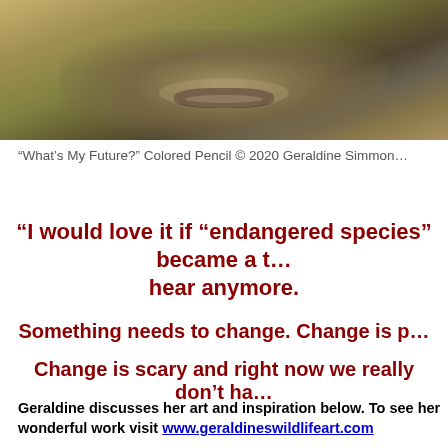[Figure (photo): Close-up photo of a chimpanzee face, cropped to show the lower portion with mouth/lips area, textured fur in brown and olive tones.]
“What’s My Future?” Colored Pencil © 2020 Geraldine Simmon…
“I would love it if “endangered species” became a term we never had to hear anymore.
Something needs to change. Change is p…
Change is scary and right now we really don’t ha…
Geraldine discusses her art and inspiration below. To see her wonderful work visit www.geraldineswildlifeart.com